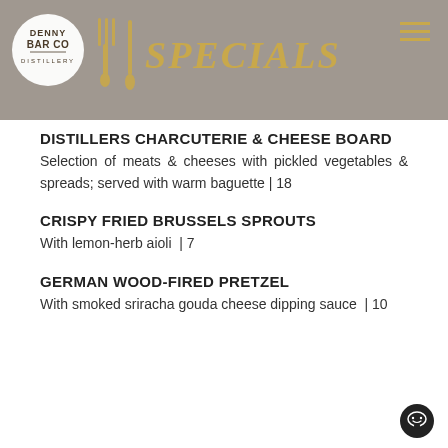Denny Bar Co Distillery — Specials
DISTILLERS CHARCUTERIE & CHEESE BOARD
Selection of meats & cheeses with pickled vegetables & spreads; served with warm baguette  |  18
CRISPY FRIED BRUSSELS SPROUTS
With lemon-herb aioli  |  7
GERMAN WOOD-FIRED PRETZEL
With smoked sriracha gouda cheese dipping sauce  |  10